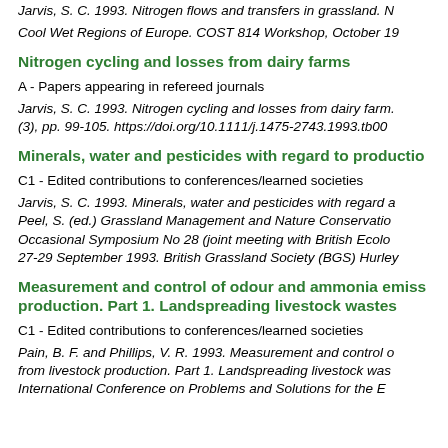Jarvis, S. C. 1993. Nitrogen flows and transfers in grassland. N Cool Wet Regions of Europe. COST 814 Workshop, October 19
Nitrogen cycling and losses from dairy farms
A - Papers appearing in refereed journals
Jarvis, S. C. 1993. Nitrogen cycling and losses from dairy farm. (3), pp. 99-105. https://doi.org/10.1111/j.1475-2743.1993.tb00
Minerals, water and pesticides with regard to productio
C1 - Edited contributions to conferences/learned societies
Jarvis, S. C. 1993. Minerals, water and pesticides with regard a Peel, S. (ed.) Grassland Management and Nature Conservatio Occasional Symposium No 28 (joint meeting with British Ecolo 27-29 September 1993. British Grassland Society (BGS) Hurley
Measurement and control of odour and ammonia emiss production. Part 1. Landspreading livestock wastes
C1 - Edited contributions to conferences/learned societies
Pain, B. F. and Phillips, V. R. 1993. Measurement and control o from livestock production. Part 1. Landspreading livestock was International Conference on Problems and Solutions for the E